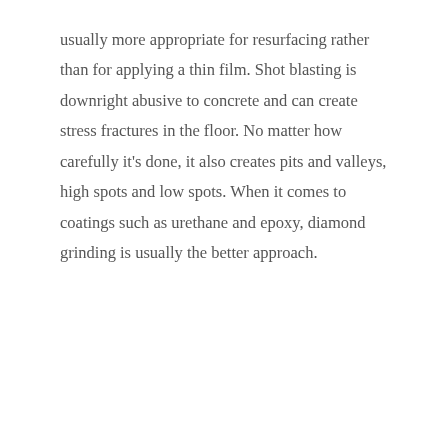usually more appropriate for resurfacing rather than for applying a thin film. Shot blasting is downright abusive to concrete and can create stress fractures in the floor. No matter how carefully it's done, it also creates pits and valleys, high spots and low spots. When it comes to coatings such as urethane and epoxy, diamond grinding is usually the better approach.
[Figure (other): Black video embed placeholder with a dark background. In the bottom-right corner there is a grey scroll-to-top button with an upward chevron, and a reCAPTCHA badge showing the Google reCAPTCHA logo with 'Privacy - Terms' text below.]